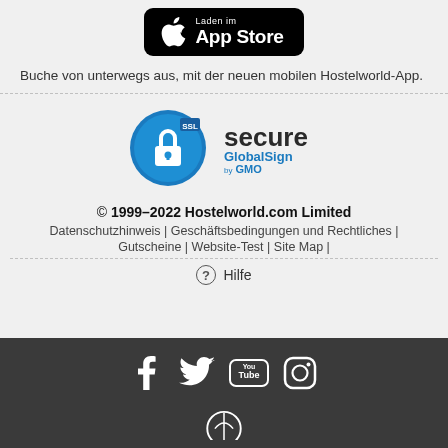[Figure (logo): Apple App Store download button, black rounded rectangle with Apple logo and text 'Laden im App Store']
Buche von unterwegs aus, mit der neuen mobilen Hostelworld-App.
[Figure (logo): SSL Secure GlobalSign by GMO badge - blue circle with padlock and SSL text, beside 'secure GlobalSign by GMO' text]
© 1999–2022 Hostelworld.com Limited
Datenschutzhinweis | Geschäftsbedingungen und Rechtliches | Gutscheine | Website-Test | Site Map |
❷ Hilfe
[Figure (infographic): Social media icons row: Facebook, Twitter, YouTube, Instagram logos in white on dark background, plus partial Hostelworld circular logo at bottom]